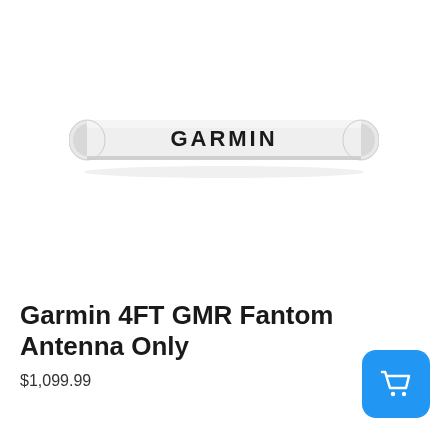[Figure (photo): Garmin 4FT GMR Fantom radar antenna — a white cylindrical horizontal antenna array with GARMIN text on it, on a white background]
Garmin 4FT GMR Fantom Antenna Only
$1,099.99